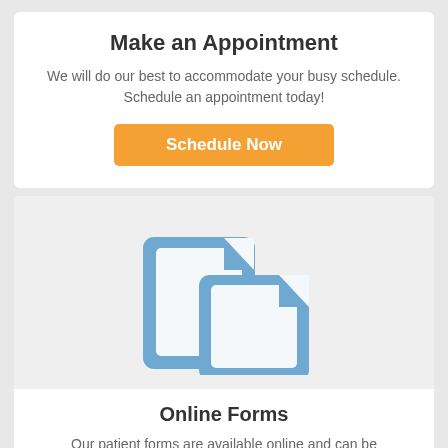Make an Appointment
We will do our best to accommodate your busy schedule. Schedule an appointment today!
Schedule Now
[Figure (illustration): Two overlapping document/forms icons in blue outline style on a light gray background]
Online Forms
Our patient forms are available online and can be completed to the extent of your needs our offi...